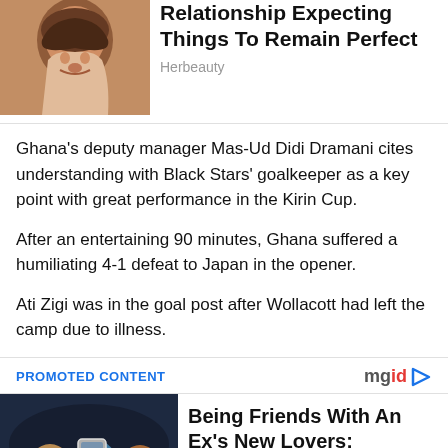[Figure (photo): Photo of a young woman with dark hair posed against warm background]
Relationship Expecting Things To Remain Perfect
Herbeauty
Ghana's deputy manager Mas-Ud Didi Dramani cites understanding with Black Stars' goalkeeper as a key point with great performance in the Kirin Cup.
After an entertaining 90 minutes, Ghana suffered a humiliating 4-1 defeat to Japan in the opener.
Ati Zigi was in the goal post after Wollacott had left the camp due to illness.
PROMOTED CONTENT
[Figure (photo): Group of young friends taking a selfie in a bar/lounge setting]
Being Friends With An Ex's New Lovers: Amazing Friendship Stories